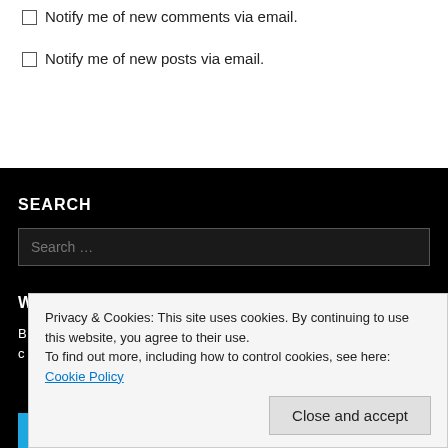Notify me of new comments via email.
Notify me of new posts via email.
SEARCH
Search ...
WANT TO READ MORE?
Privacy & Cookies: This site uses cookies. By continuing to use this website, you agree to their use.
To find out more, including how to control cookies, see here: Cookie Policy
Close and accept
FOLLOW